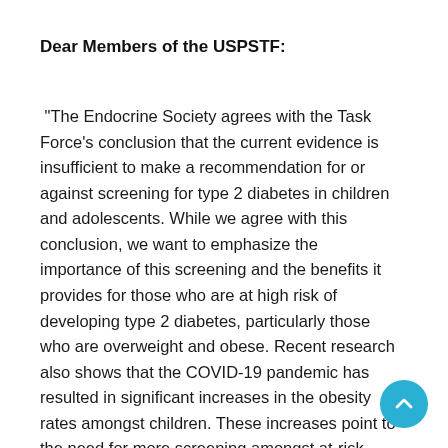Dear Members of the USPSTF:
"The Endocrine Society agrees with the Task Force's conclusion that the current evidence is insufficient to make a recommendation for or against screening for type 2 diabetes in children and adolescents. While we agree with this conclusion, we want to emphasize the importance of this screening and the benefits it provides for those who are at high risk of developing type 2 diabetes, particularly those who are overweight and obese. Recent research also shows that the COVID-19 pandemic has resulted in significant increases in the obesity rates amongst children. These increases point to the need for more screening amongst at-risk populations. For children with high risk factors